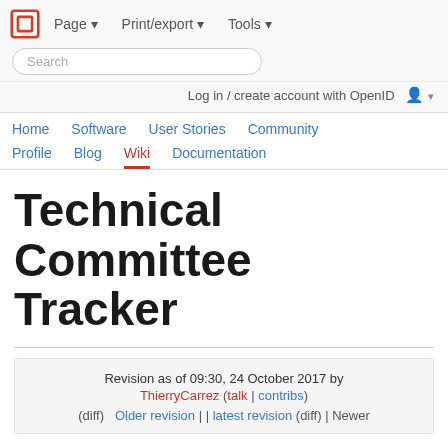Page ▾  Print/export ▾  Tools ▾
Search
Log in / create account with OpenID
Home  Software  User Stories  Community  Profile  Blog  Wiki  Documentation
Technical Committee Tracker
Revision as of 09:30, 24 October 2017 by ThierryCarrez (talk | contribs)
(diff)  Older revision | Latest revision (diff) | Newer